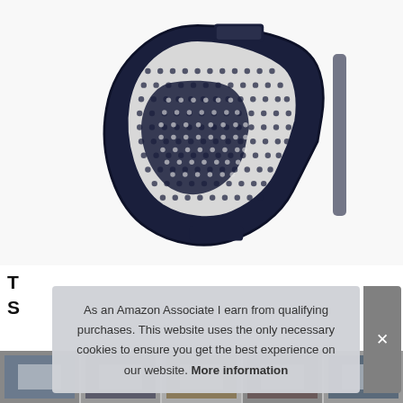[Figure (photo): Product photo of a mesh lumbar back support cushion for chairs, dark navy blue color with mesh grid pattern, shown on white background]
T
S
[Figure (photo): Thumbnail strip showing multiple small product images at the bottom of the page]
As an Amazon Associate I earn from qualifying purchases. This website uses the only necessary cookies to ensure you get the best experience on our website. More information